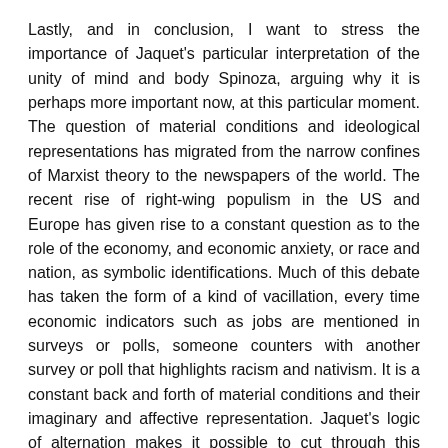Lastly, and in conclusion, I want to stress the importance of Jaquet's particular interpretation of the unity of mind and body Spinoza, arguing why it is perhaps more important now, at this particular moment. The question of material conditions and ideological representations has migrated from the narrow confines of Marxist theory to the newspapers of the world. The recent rise of right-wing populism in the US and Europe has given rise to a constant question as to the role of the economy, and economic anxiety, or race and nation, as symbolic identifications. Much of this debate has taken the form of a kind of vacillation, every time economic indicators such as jobs are mentioned in surveys or polls, someone counters with another survey or poll that highlights racism and nativism. It is a constant back and forth of material conditions and their imaginary and affective representation. Jaquet's logic of alternation makes it possible to cut through this vacillation by reminding us that sometimes material conditions are themselves the site of affective investments, and sometimes thinking, the association of ideas and affects, has directly material effects.
To conclude, one can draw from the current political...